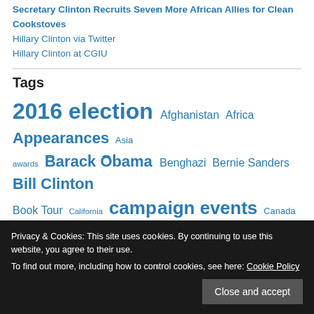Secretary Clinton Recruits Seven More African Allies for Clean Cookstoves
Hillary Clinton via Twitter
Hillary Clinton at CGIU
Tags
2016 election Afghanistan Africa Appearances Asia awards Barack Obama Benghazi Bernie Sanders Bill Clinton Book Tour California campaign events Canada Chelsea Clinton China Clinton/Kaine 2016 Clinton Foundation Clinton
Privacy & Cookies: This site uses cookies. By continuing to use this website, you agree to their use. To find out more, including how to control cookies, see here: Cookie Policy